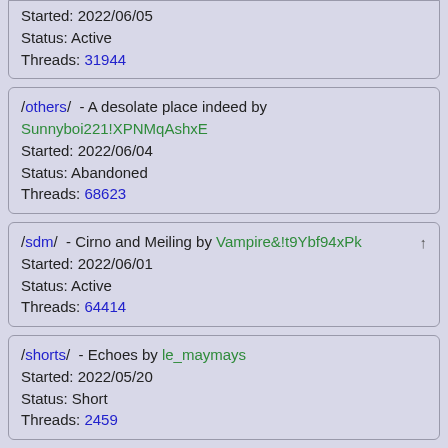Started: 2022/06/05
Status: Active
Threads: 31944
/others/ - A desolate place indeed by Sunnyboi221!XPNMqAshxE
Started: 2022/06/04
Status: Abandoned
Threads: 68623
/sdm/ - Cirno and Meiling by Vampire&!t9Ybf94xPk
Started: 2022/06/01
Status: Active
Threads: 64414
/shorts/ - Echoes by le_maymays
Started: 2022/05/20
Status: Short
Threads: 2459